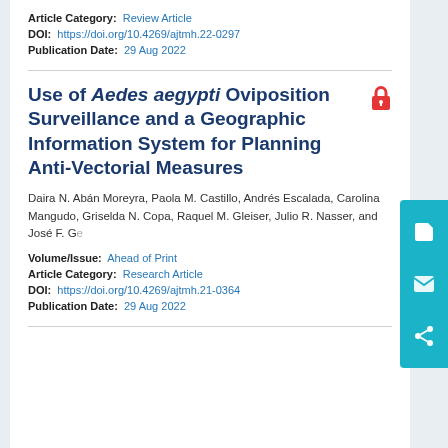Article Category: Review Article
DOI: https://doi.org/10.4269/ajtmh.22-0297
Publication Date: 29 Aug 2022
Use of Aedes aegypti Oviposition Surveillance and a Geographic Information System for Planning Anti-Vectorial Measures
Daira N. Abán Moreyra, Paola M. Castillo, Andrés Escalada, Carolina Mangudo, Griselda N. Copa, Raquel M. Gleiser, Julio R. Nasser, and José F. Ge…
Volume/Issue: Ahead of Print
Article Category: Research Article
DOI: https://doi.org/10.4269/ajtmh.21-0364
Publication Date: 29 Aug 2022